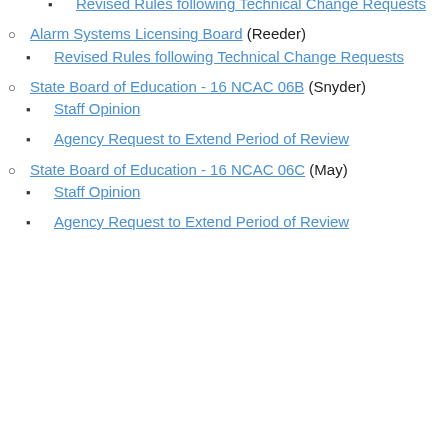Revised Rules following Technical Change Requests
Alarm Systems Licensing Board (Reeder)
Revised Rules following Technical Change Requests
State Board of Education - 16 NCAC 06B (Snyder)
Staff Opinion
Agency Request to Extend Period of Review
State Board of Education - 16 NCAC 06C (May)
Staff Opinion
Agency Request to Extend Period of Review